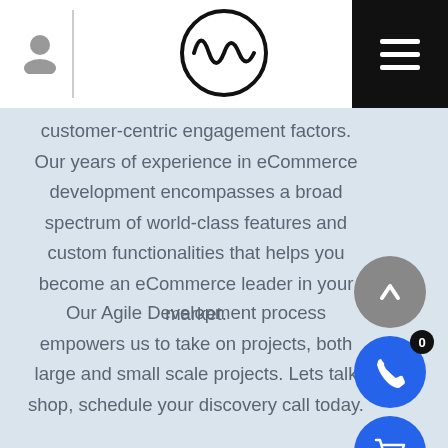[Navigation header with user icon, logo, and menu button]
customer-centric engagement factors. Our years of experience in eCommerce development encompasses a broad spectrum of world-class features and custom functionalities that helps you become an eCommerce leader in your market.
Our Agile Development process empowers us to take on projects, both large and small scale projects. Lets talk shop, schedule your discovery call today.
[Figure (infographic): Floating action buttons on right side: grey scroll-to-top arrow button, blue phone button, blue shopping cart button with badge showing 0, blue chat/message button]